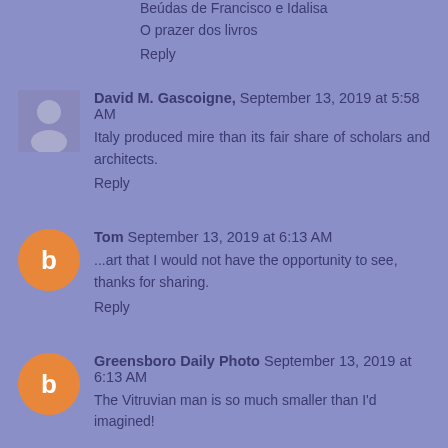Beúdas de Francisco e Idalisa
O prazer dos livros
Reply
David M. Gascoigne, September 13, 2019 at 5:58 AM
Italy produced mire than its fair share of scholars and architects.
Reply
Tom September 13, 2019 at 6:13 AM
...art that I would not have the opportunity to see, thanks for sharing.
Reply
Greensboro Daily Photo September 13, 2019 at 6:13 AM
The Vitruvian man is so much smaller than I'd imagined!